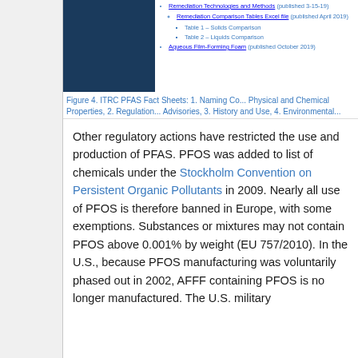[Figure (screenshot): Screenshot of ITRC PFAS Fact Sheets webpage showing links to Remediation Technologies and Methods, Remediation Comparison Tables Excel file with Table 1 Solids Comparison and Table 2 Liquids Comparison, and Aqueous Film-Forming Foam]
Figure 4. ITRC PFAS Fact Sheets: 1. Naming Co... Physical and Chemical Properties, 2. Regulation... Advisories, 3. History and Use, 4. Environmental... Site Characterization Tools, Sampling Technique... Analytical Methods, and 6. Remediation Technol...
Other regulatory actions have restricted the use and production of PFAS. PFOS was added to list of chemicals under the Stockholm Convention on Persistent Organic Pollutants in 2009. Nearly all use of PFOS is therefore banned in Europe, with some exemptions. Substances or mixtures may not contain PFOS above 0.001% by weight (EU 757/2010). In the U.S., because PFOS manufacturing was voluntarily phased out in 2002, AFFF containing PFOS is no longer manufactured. The U.S. military